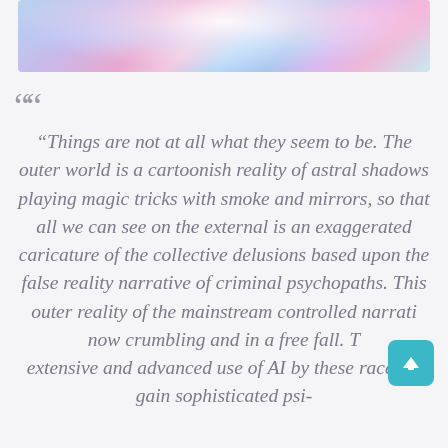[Figure (photo): Colorful cosmic/fantasy image with blues, purples, and pinks with bright light burst in center]
“Things are not at all what they seem to be. The outer world is a cartoonish reality of astral shadows playing magic tricks with smoke and mirrors, so that all we can see on the external is an exaggerated caricature of the collective delusions based upon the false reality narrative of criminal psychopaths. This outer reality of the mainstream controlled narrati... now crumbling and in a free fall. T... extensive and advanced use of AI by these races to gain sophisticated psi-